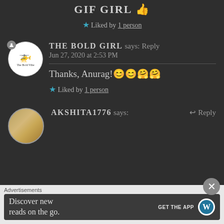GIF GIRL 👍
★ Liked by 1 person
THE BOLD GIRL says: Reply
Jun 27, 2020 at 2:53 PM
Thanks, Anurag!😊😊🤗🤗
★ Liked by 1 person
AKSHITA1776 says: Reply
[Figure (screenshot): WordPress app advertisement banner: 'Discover new reads on the go. GET THE APP' with WordPress logo]